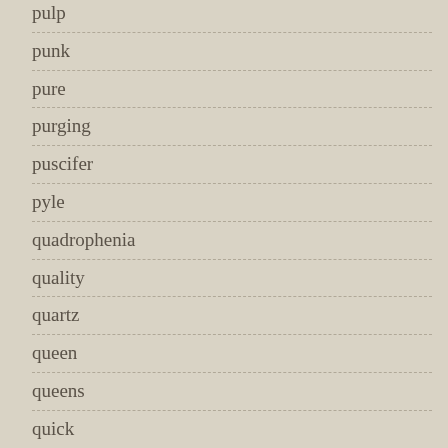pulp
punk
pure
purging
puscifer
pyle
quadrophenia
quality
quartz
queen
queens
quick
quintet
race
racer
radical